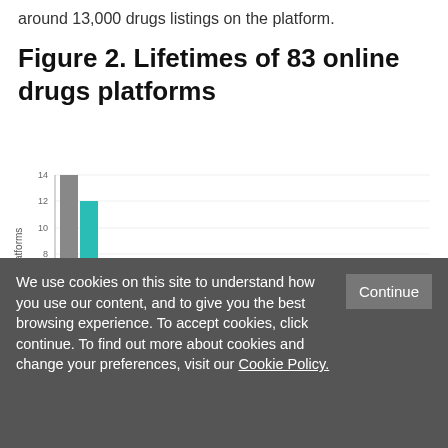around 13,000 drugs listings on the platform.
Figure 2. Lifetimes of 83 online drugs platforms
[Figure (bar-chart): Histogram showing number of platforms by lifetime (days). Tallest bar is gray at ~14, next teal bar ~12, then decreasing bars. Silk Road 2.0 (365) and Nucleus (538) labeled on x-axis.]
We use cookies on this site to understand how you use our content, and to give you the best browsing experience. To accept cookies, click continue. To find out more about cookies and change your preferences, visit our Cookie Policy.